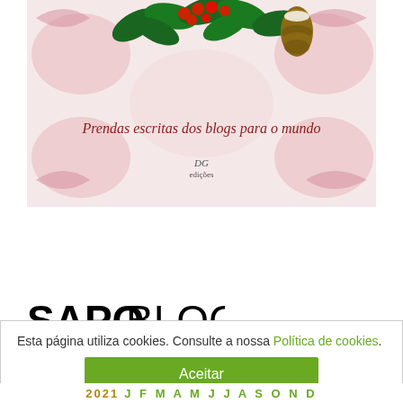[Figure (photo): Book cover with Christmas decorations (holly, red berries, pine cone) on a pink floral background. Text reads 'Prendas escritas dos blogs para o mundo' in cursive, with a DG edições publisher logo.]
O nosso livro
[Figure (logo): SAPOBLOGS logo with SAPO in bold black and BLOGS in regular weight black text]
Esta página utiliza cookies. Consulte a nossa Política de cookies.
Aceitar
2021 J F M A M J J A S O N D